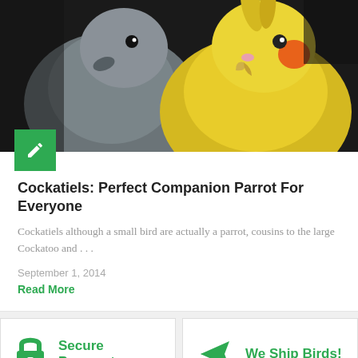[Figure (photo): Close-up photo of two cockatiels — a grey one on the left and a yellow/orange one on the right, against a dark background]
Cockatiels: Perfect Companion Parrot For Everyone
Cockatiels although a small bird are actually a parrot, cousins to the large Cockatoo and . . .
September 1, 2014
Read More
Secure Payments
We offer safe and secure
We Ship Birds!
We ship birds within the